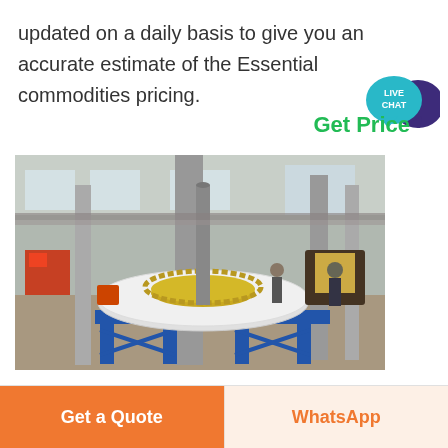updated on a daily basis to give you an accurate estimate of the Essential commodities pricing.
Get Price
[Figure (photo): Industrial factory floor with large rotary equipment/gear assembly mounted on blue steel frame, workers visible in background, large warehouse space with steel columns and natural lighting]
Get a Quote
WhatsApp